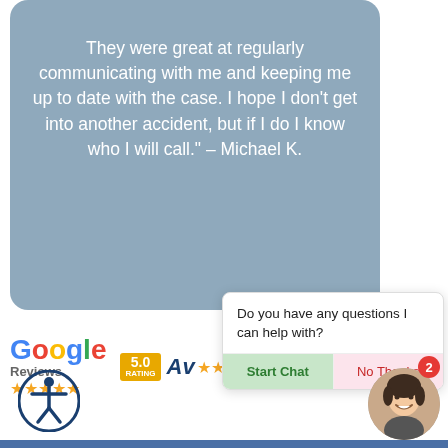They were great at regularly communicating with me and keeping me up to date with the case. I hope I don't get into another accident, but if I do I know who I will call." – Michael K.
[Figure (logo): Google Reviews logo with 5 gold stars]
[Figure (logo): Avvo 5.0 rating badge with stars]
Do you have any questions I can help with?
Start Chat
No Thanks
[Figure (illustration): Accessibility icon - person in circle]
[Figure (photo): Agent avatar photo of a smiling woman with notification badge showing 2]